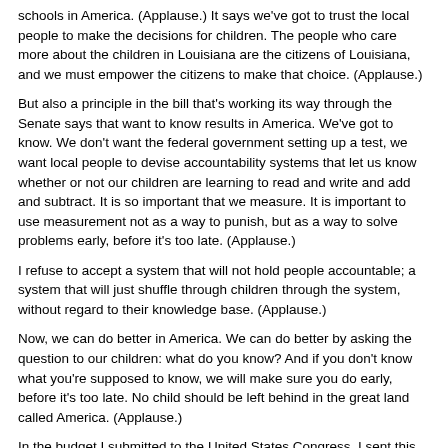schools in America. (Applause.) It says we've got to trust the local people to make the decisions for children. The people who care more about the children in Louisiana are the citizens of Louisiana, and we must empower the citizens to make that choice. (Applause.)
But also a principle in the bill that's working its way through the Senate says that want to know results in America. We've got to know. We don't want the federal government setting up a test, we want local people to devise accountability systems that let us know whether or not our children are learning to read and write and add and subtract. It is so important that we measure. It is important to use measurement not as a way to punish, but as a way to solve problems early, before it's too late. (Applause.)
I refuse to accept a system that will not hold people accountable; a system that will just shuffle through children through the system, without regard to their knowledge base. (Applause.)
Now, we can do better in America. We can do better by asking the question to our children: what do you know? And if you don't know what you're supposed to know, we will make sure you do early, before it's too late. No child should be left behind in the great land called America. (Applause.)
In the budget I submitted to the United States Congress, I sent this priority: we better make sure we pay the people who wear the uniform of the United States a decent wage. (Applause.) I have the awesome responsibility of being the Commander in Chief of the United States, and that means making sure that morale is high amongst our troops. (Applause.) That means good pay. That means good housing. That means good training. And that means having a Commander in Chief who respects the men and women who wear the uniform and who, in turn, earns the respect of the men and women who wear the uniform. (Applause.)